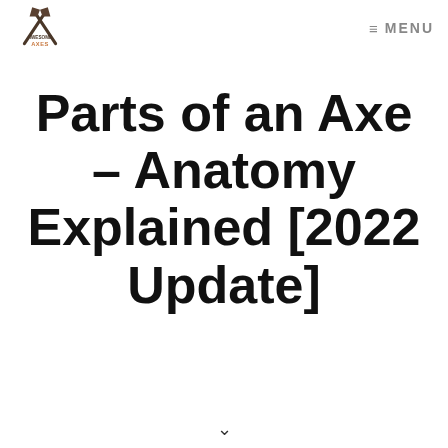AWESOME AXES — MENU
Parts of an Axe – Anatomy Explained [2022 Update]